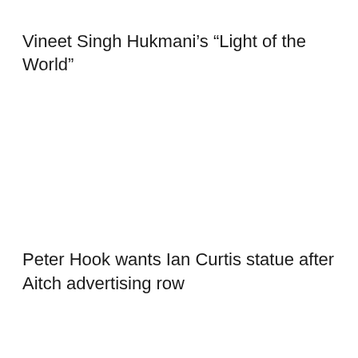Vineet Singh Hukmani’s “Light of the World”
Peter Hook wants Ian Curtis statue after Aitch advertising row